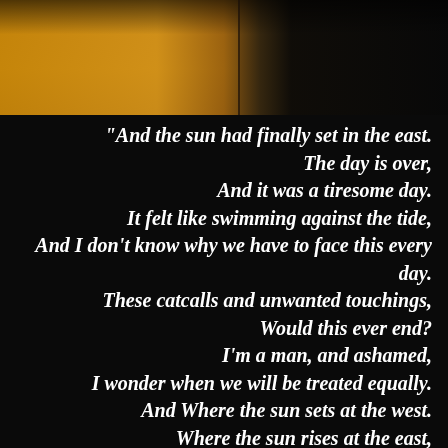[Figure (photo): Dark atmospheric image with golden/amber warm light on the left half and dark black on the right half, suggesting a sunset or dusk sky.]
"And the sun had finally set in the east.
The day is over,
And it was a tiresome day.
It felt like swimming against the tide,
And I don't know why we have to face this every day.
These catcalls and unwanted touchings,
Would this ever end?
I'm a man, and ashamed,
I wonder when we will be treated equally.
And Where the sun sets at the west.
Where the sun rises at the east,
I wish there was...